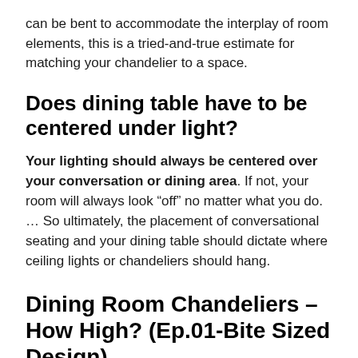can be bent to accommodate the interplay of room elements, this is a tried-and-true estimate for matching your chandelier to a space.
Does dining table have to be centered under light?
Your lighting should always be centered over your conversation or dining area. If not, your room will always look “off” no matter what you do. … So ultimately, the placement of conversational seating and your dining table should dictate where ceiling lights or chandeliers should hang.
Dining Room Chandeliers – How High? (Ep.01-Bite Sized Design)